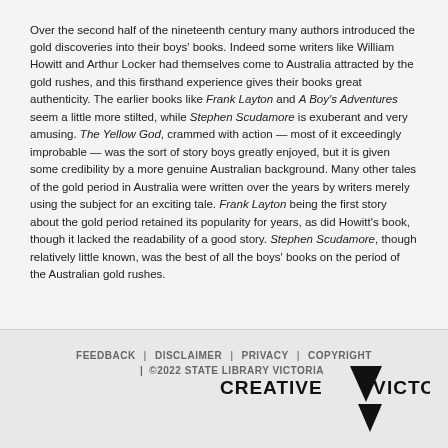Over the second half of the nineteenth century many authors introduced the gold discoveries into their boys' books. Indeed some writers like William Howitt and Arthur Locker had themselves come to Australia attracted by the gold rushes, and this firsthand experience gives their books great authenticity. The earlier books like Frank Layton and A Boy's Adventures seem a little more stilted, while Stephen Scudamore is exuberant and very amusing. The Yellow God, crammed with action — most of it exceedingly improbable — was the sort of story boys greatly enjoyed, but it is given some credibility by a more genuine Australian background. Many other tales of the gold period in Australia were written over the years by writers merely using the subject for an exciting tale. Frank Layton being the first story about the gold period retained its popularity for years, as did Howitt's book, though it lacked the readability of a good story. Stephen Scudamore, though relatively little known, was the best of all the boys' books on the period of the Australian gold rushes.
FEEDBACK | DISCLAIMER | PRIVACY | COPYRIGHT | ©2022 STATE LIBRARY VICTORIA
[Figure (logo): Creative Victoria logo with bold text and downward-pointing triangle]